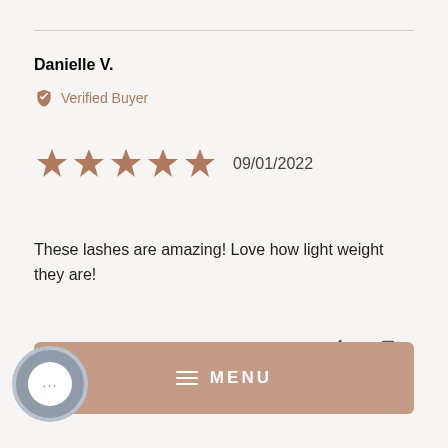Danielle V.
Verified Buyer
09/01/2022
These lashes are amazing! Love how light weight they are!
0 0
MENU